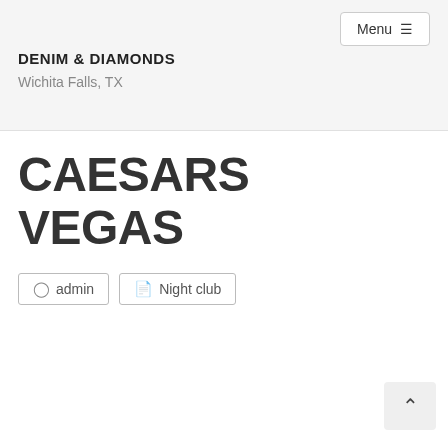Menu ☰
DENIM & DIAMONDS
Wichita Falls, TX
CAESARS VEGAS
admin
Night club